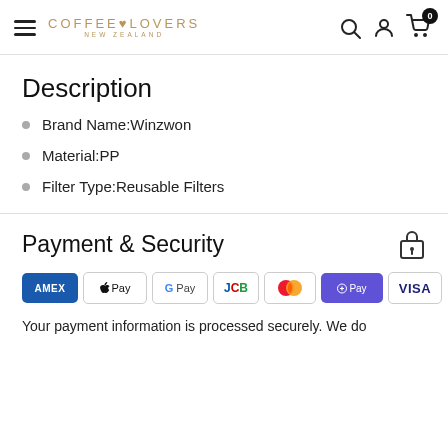COFFEE LOVERS NEW ZEALAND — navigation header with search, account, cart icons
Description
Brand Name:Winzwon
Material:PP
Filter Type:Reusable Filters
Payment & Security
[Figure (other): Payment method icons: Amex, Apple Pay, Google Pay, JCB, Mastercard, Shopify Pay, Visa]
Your payment information is processed securely. We do